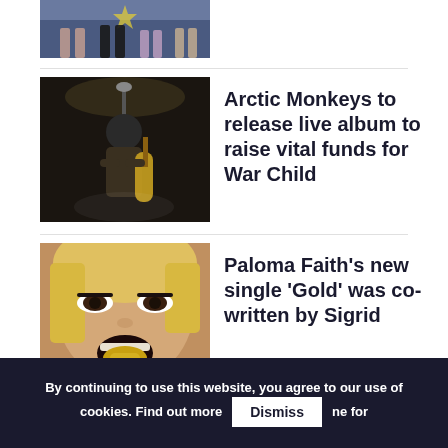[Figure (photo): Partial view of people's legs on a blue carpet/stage background, cropped from top]
[Figure (photo): Arctic Monkeys guitarist/vocalist performing on stage with guitar, dark background]
Arctic Monkeys to release live album to raise vital funds for War Child
[Figure (photo): Paloma Faith close-up portrait with blonde hair, dramatic makeup, gold in mouth]
Paloma Faith’s new single ‘Gold’ was co-written by Sigrid
[Figure (photo): Partial view of The Sound of Belfast festival image, partially obscured by cookie banner]
The Sound of Belfast festival mo... ne for 2022
By continuing to use this website, you agree to our use of cookies. Find out more
Dismiss